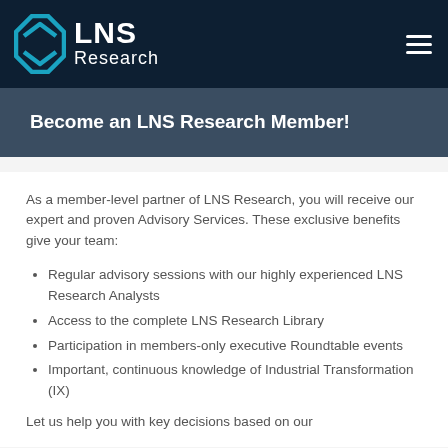[Figure (logo): LNS Research logo with hexagon icon on dark navy background, with hamburger menu icon on the right]
Become an LNS Research Member!
As a member-level partner of LNS Research, you will receive our expert and proven Advisory Services. These exclusive benefits give your team:
Regular advisory sessions with our highly experienced LNS Research Analysts
Access to the complete LNS Research Library
Participation in members-only executive Roundtable events
Important, continuous knowledge of Industrial Transformation (IX)
Let us help you with key decisions based on our